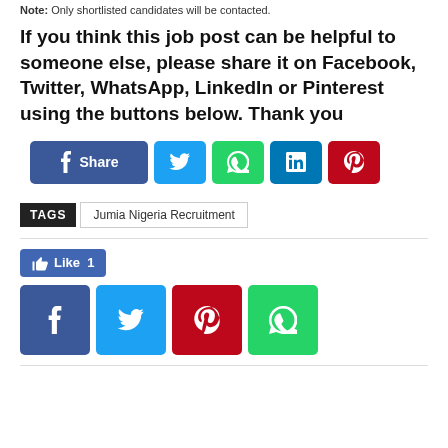Note: Only shortlisted candidates will be contacted.
If you think this job post can be helpful to someone else, please share it on Facebook, Twitter, WhatsApp, LinkedIn or Pinterest using the buttons below. Thank you
[Figure (other): Social share buttons: Facebook Share, Twitter, WhatsApp, LinkedIn, Pinterest]
TAGS   Jumia Nigeria Recruitment
[Figure (other): Facebook Like button showing count of 1, plus social share buttons: Facebook, Twitter, Pinterest, WhatsApp]